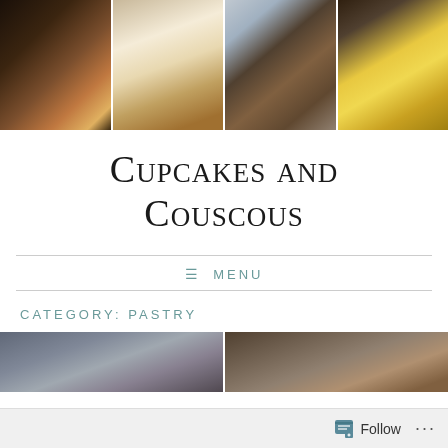[Figure (photo): Header photo strip with four food photos: caramel bundt cake on white stand, waffle cones with nuts, chocolate nut bars on plate, stacked yellow cookies with powdered sugar]
Cupcakes and Couscous
≡ MENU
CATEGORY: PASTRY
[Figure (photo): Two partial food photos at bottom: left shows baking with whisk on dark surface, right shows ingredients in small bowls]
Follow ...